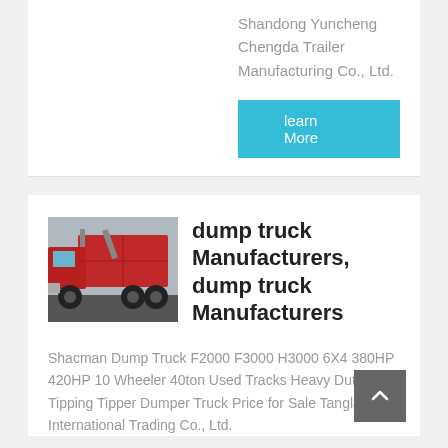Shandong Yuncheng Chengda Trailer Manufacturing Co., Ltd.
learn More
[Figure (photo): Red dump truck photographed from the side/rear showing the cab and cargo area]
dump truck Manufacturers, dump truck Manufacturers
Shacman Dump Truck F2000 F3000 H3000 6X4 380HP 420HP 10 Wheeler 40ton Used Tracks Heavy Duty Lorry Tipping Tipper Dumper Truck Price for Sale Tangland International Trading Co., Ltd.